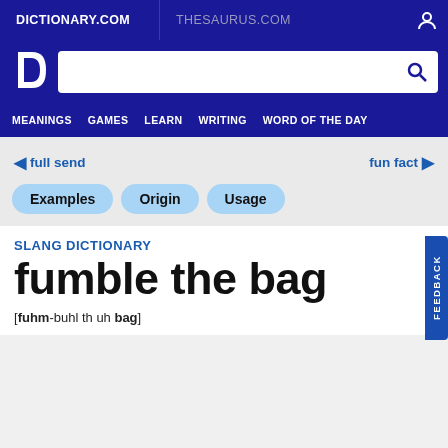DICTIONARY.COM | THESAURUS.COM
[Figure (screenshot): Dictionary.com logo and search bar with navigation menu including MEANINGS, GAMES, LEARN, WRITING, WORD OF THE DAY]
← full send   fun fact →
Examples
Origin
Usage
SLANG DICTIONARY
fumble the bag
[fuhm-buhl th uh bag]